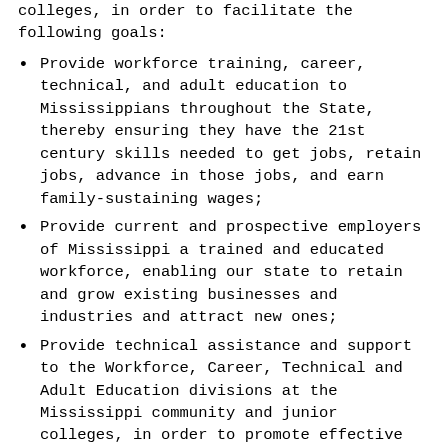colleges, in order to facilitate the following goals:
Provide workforce training, career, technical, and adult education to Mississippians throughout the State, thereby ensuring they have the 21st century skills needed to get jobs, retain jobs, advance in those jobs, and earn family-sustaining wages;
Provide current and prospective employers of Mississippi a trained and educated workforce, enabling our state to retain and grow existing businesses and industries and attract new ones;
Provide technical assistance and support to the Workforce, Career, Technical and Adult Education divisions at the Mississippi community and junior colleges, in order to promote effective communication, efficient use of state resources, and improved educational outcomes through program quality, assessment and accountability; and
Provide an innovative curriculum aligned to industry certifications, national standards